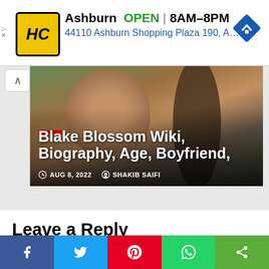[Figure (infographic): Advertisement banner: HC logo (yellow/black), Ashburn OPEN 8AM-8PM, 44110 Ashburn Shopping Plaza 190 A., navigation arrow icon]
[Figure (photo): Hero image of Blake Blossom with overlaid title text 'Blake Blossom Wiki, Biography, Age, Boyfriend,' and metadata showing AUG 8, 2022 and SHAKIB SAIFI]
Blake Blossom Wiki, Biography, Age, Boyfriend,
AUG 8, 2022   SHAKIB SAIFI
Leave a Reply
Your email address will not be published. Required